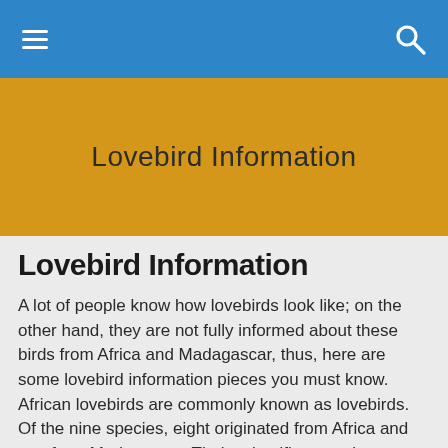≡  🔍
Lovebird Information
Lovebird Information
A lot of people know how lovebirds look like; on the other hand, they are not fully informed about these birds from Africa and Madagascar, thus, here are some lovebird information pieces you must know. African lovebirds are commonly known as lovebirds. Of the nine species, eight originated from Africa and one from Madagascar. Their scientific name is